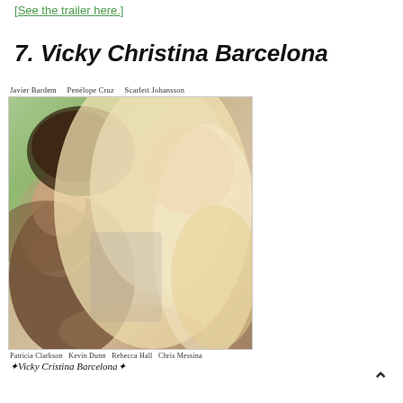[See the trailer here.]
7. Vicky Christina Barcelona
[Figure (photo): Movie poster for Vicky Christina Barcelona featuring actors Javier Bardem, Penélope Cruz, and Scarlett Johansson in a close romantic pose. Top credits read: Javier Bardem, Penélope Cruz, Scarlett Johansson. Bottom credits read: Patricia Clarkson, Kevin Dunn, Rebecca Hall, Chris Messina. Film title 'Vicky Cristina Barcelona' appears at bottom in stylized script.]